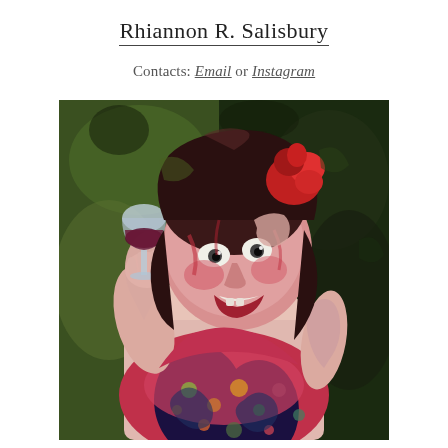Rhiannon R. Salisbury
Contacts: Email or Instagram
[Figure (illustration): An expressionist oil painting of a woman with wild expression holding a glass of red wine. She wears a colorful patterned dress with polka dots and swirls in red, black, navy, and green. Her face is rendered in distorted pinkish-red tones with white eyes. She has dark hair with a red flower/bow. The background features dark greens and blacks suggesting a garden setting. The style is loose, impasto, emotionally intense.]